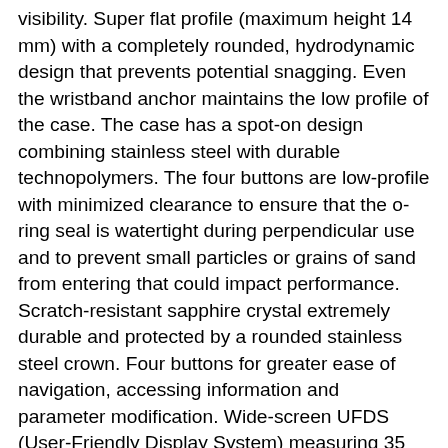visibility. Super flat profile (maximum height 14 mm) with a completely rounded, hydrodynamic design that prevents potential snagging. Even the wristband anchor maintains the low profile of the case. The case has a spot-on design combining stainless steel with durable technopolymers. The four buttons are low-profile with minimized clearance to ensure that the o-ring seal is watertight during perpendicular use and to prevent small particles or grains of sand from entering that could impact performance. Scratch-resistant sapphire crystal extremely durable and protected by a rounded stainless steel crown. Four buttons for greater ease of navigation, accessing information and parameter modification. Wide-screen UFDS (User-Friendly Display System) measuring 35 mm in diameter with the case measuring 45 mm. Provides the proverbial ease of navigation and Cressi computer menus. The information display, screen contrast, proportions and digit size have been carefully chosen for ease of use. All of the information presented is separated by light lines to facilitate reading even in stressful or emergency situations. Back-lit display activated by button or when alarm sounds. Menus and navigation system identical to the rest of the Cressi diving computers, with ease of reading, access to information and model parameter modification. Easy configuration, navigation through the various menus and access to a large amount of information displayed intuitively. Complete Nike menus, easy to use with the ability to